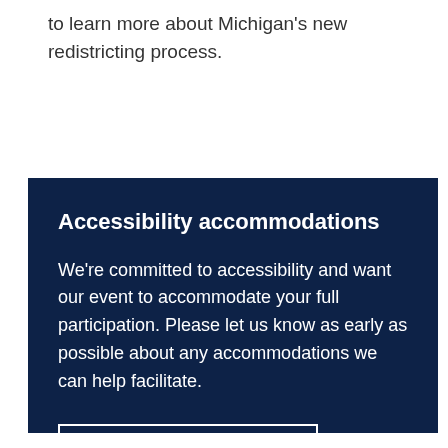to learn more about Michigan's new redistricting process.
Accessibility accommodations
We're committed to accessibility and want our event to accommodate your full participation. Please let us know as early as possible about any accommodations we can help facilitate.
Accommodation form →